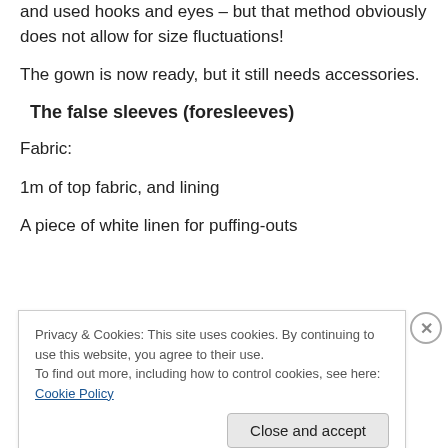Alternatively, it is possible to discard the pins altogether and used hooks and eyes – but that method obviously does not allow for size fluctuations!
The gown is now ready, but it still needs accessories.
The false sleeves (foresleeves)
Fabric:
1m of top fabric, and lining
A piece of white linen for puffing-outs
Privacy & Cookies: This site uses cookies. By continuing to use this website, you agree to their use.
To find out more, including how to control cookies, see here: Cookie Policy
Close and accept